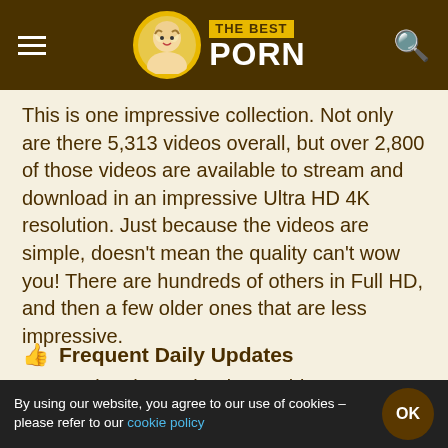THE BEST PORN
This is one impressive collection. Not only are there 5,313 videos overall, but over 2,800 of those videos are available to stream and download in an impressive Ultra HD 4K resolution. Just because the videos are simple, doesn't mean the quality can't wow you! There are hundreds of others in Full HD, and then a few older ones that are less impressive.
Frequent Daily Updates
Just saying they upload new videos every day would be more than impressive. But fun
By using our website, you agree to our use of cookies – please refer to our cookie policy